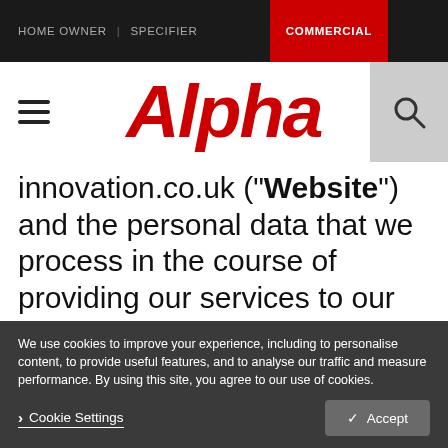HOME OWNER | SPECIFIER  COMMERCIAL
[Figure (logo): Alpha brand logo in red italic bold text]
innovation.co.uk (“Website”) and the personal data that we process in the course of providing our services to our customers (“Services”), how we use it, the conditions under which we may disclose
We use cookies to improve your experience, including to personalise content, to provide useful features, and to analyse our traffic and measure performance. By using this site, you agree to our use of cookies.
Cookie Settings  Accept